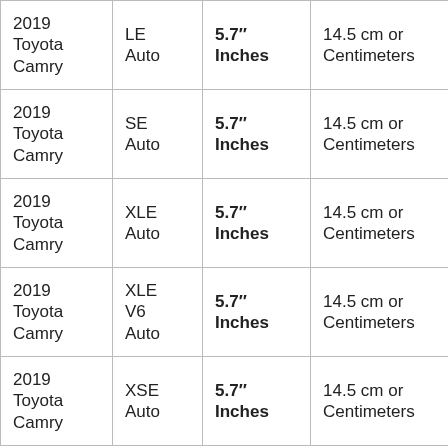| 2019 Toyota Camry | LE Auto | 5.7″ Inches | 14.5 cm or Centimeters |
| 2019 Toyota Camry | SE Auto | 5.7″ Inches | 14.5 cm or Centimeters |
| 2019 Toyota Camry | XLE Auto | 5.7″ Inches | 14.5 cm or Centimeters |
| 2019 Toyota Camry | XLE V6 Auto | 5.7″ Inches | 14.5 cm or Centimeters |
| 2019 Toyota Camry | XSE Auto | 5.7″ Inches | 14.5 cm or Centimeters |